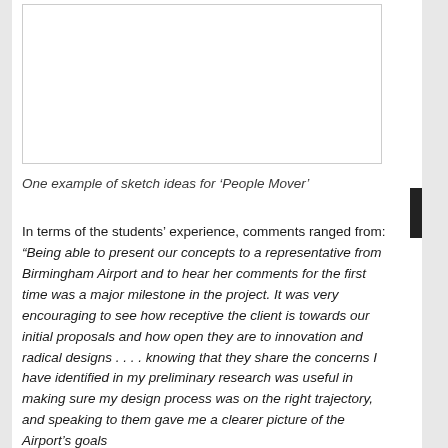[Figure (photo): Blank white image area representing a sketch for 'People Mover' concept]
One example of sketch ideas for ‘People Mover’
In terms of the students’ experience, comments ranged from: “Being able to present our concepts to a representative from Birmingham Airport and to hear her comments for the first time was a major milestone in the project. It was very encouraging to see how receptive the client is towards our initial proposals and how open they are to innovation and radical designs . . . . knowing that they share the concerns I have identified in my preliminary research was useful in making sure my design process was on the right trajectory, and speaking to them gave me a clearer picture of the Airport’s goals